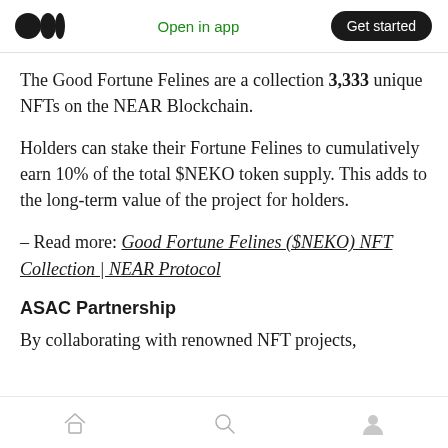Open in app | Get started
The Good Fortune Felines are a collection 3,333 unique NFTs on the NEAR Blockchain.
Holders can stake their Fortune Felines to cumulatively earn 10% of the total $NEKO token supply. This adds to the long-term value of the project for holders.
– Read more: Good Fortune Felines ($NEKO) NFT Collection | NEAR Protocol
ASAC Partnership
By collaborating with renowned NFT projects,
Home | Search | Profile